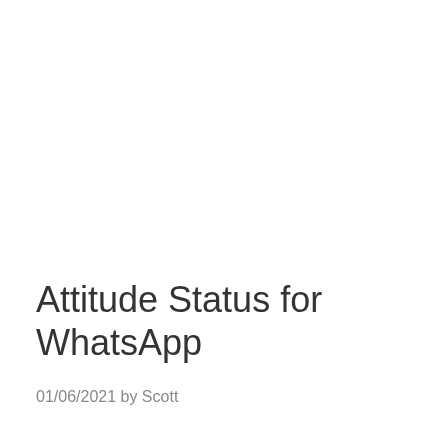Attitude Status for WhatsApp
01/06/2021 by Scott